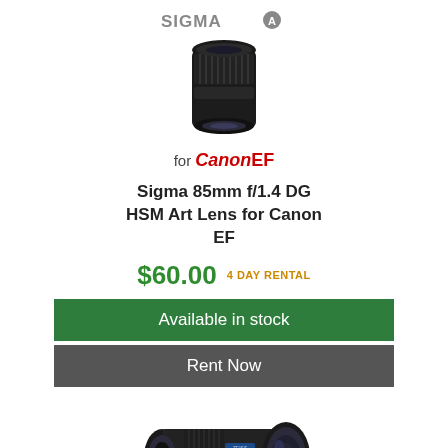[Figure (photo): Sigma Art lens badge logo with 'A' mark on circular badge, gray text reading SIGMA]
[Figure (photo): Sigma 85mm f/1.4 DG HSM Art lens for Canon EF, black camera lens viewed from front-top angle]
for Canon EF
Sigma 85mm f/1.4 DG HSM Art Lens for Canon EF
$60.00  4 DAY RENTAL
Available in stock
Rent Now
[Figure (photo): Sony Distagon T* FE 35mm lens, black wide-angle camera lens viewed from front-side angle]
Sony Distagon T* FE 35mm